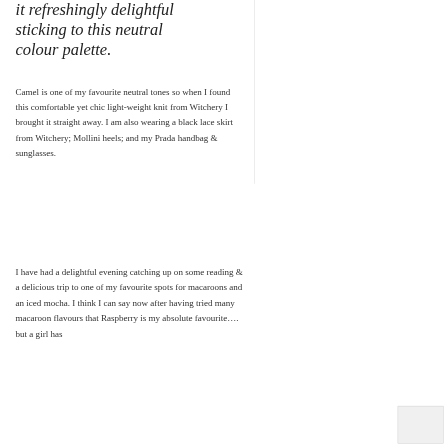it refreshingly delightful sticking to this neutral colour palette.
Camel is one of my favourite neutral tones so when I found this comfortable yet chic light-weight knit from Witchery I brought it straight away. I am also wearing a black lace skirt from Witchery; Mollini heels; and my Prada handbag & sunglasses.
I have had a delightful evening catching up on some reading & a delicious trip to one of my favourite spots for macaroons and an iced mocha. I think I can say now after having tried many macaroon flavours that Raspberry is my absolute favourite…. but a girl has